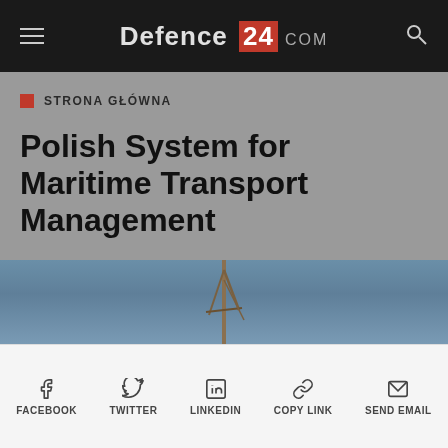Defence 24 .com
STRONA GŁÓWNA
Polish System for Maritime Transport Management
DEFENCE24
22.09.2017 12:00
[Figure (photo): Partial view of a maritime crane or mast against a blue sky]
FACEBOOK  TWITTER  LINKEDIN  COPY LINK  SEND EMAIL